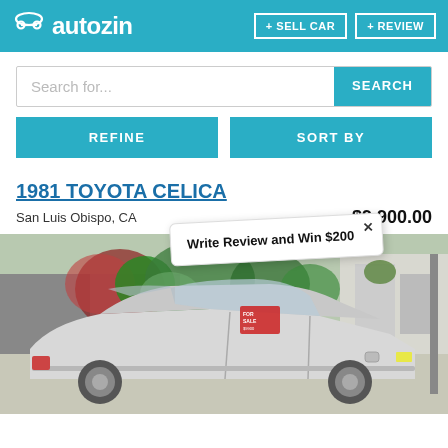autozin | + SELL CAR | + REVIEW
Search for...
SEARCH
REFINE
SORT BY
1981 TOYOTA CELICA
San Luis Obispo, CA    $9,900.00
Write Review and Win $200
[Figure (photo): Photograph of a silver 1981 Toyota Celica parked in a driveway with plants and a structure in the background]